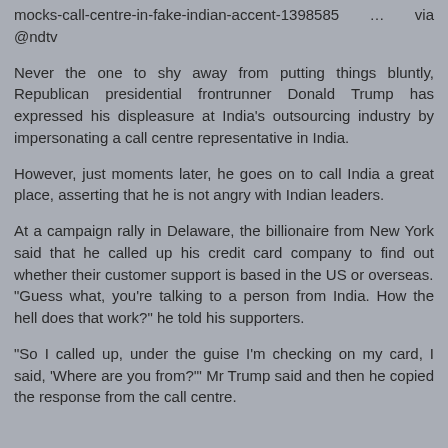mocks-call-centre-in-fake-indian-accent-1398585   …   via @ndtv
Never the one to shy away from putting things bluntly, Republican presidential frontrunner Donald Trump has expressed his displeasure at India's outsourcing industry by impersonating a call centre representative in India.
However, just moments later, he goes on to call India a great place, asserting that he is not angry with Indian leaders.
At a campaign rally in Delaware, the billionaire from New York said that he called up his credit card company to find out whether their customer support is based in the US or overseas.
"Guess what, you're talking to a person from India. How the hell does that work?" he told his supporters.
"So I called up, under the guise I'm checking on my card, I said, 'Where are you from?'" Mr Trump said and then he copied the response from the call centre.